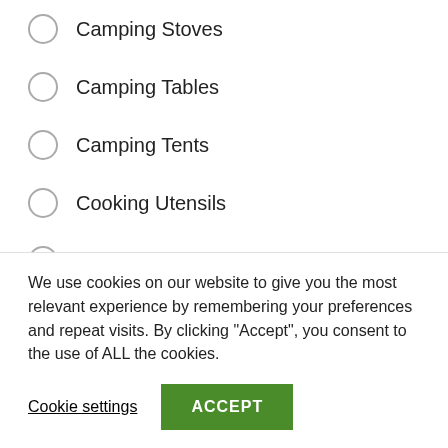Camping Stoves
Camping Tables
Camping Tents
Cooking Utensils
Open Fire Cookware
Self-Inflating Camping Pads
Sports And Outdoors
Outdoor Recreation
Camping and Hiking
We use cookies on our website to give you the most relevant experience by remembering your preferences and repeat visits. By clicking “Accept”, you consent to the use of ALL the cookies.
Cookie settings   ACCEPT